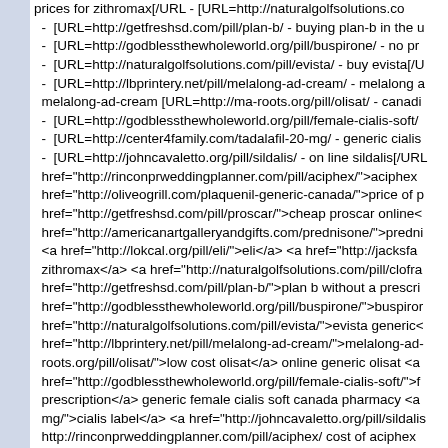prices for zithromax[/URL - [URL=http://naturalgolfsolutions.co - [URL=http://getfreshsd.com/pill/plan-b/ - buying plan-b in the u - [URL=http://godblessthewholeworld.org/pill/buspirone/ - no pr - [URL=http://naturalgolfsolutions.com/pill/evista/ - buy evista[/U - [URL=http://lbprintery.net/pill/melalong-ad-cream/ - melalong a melalong-ad-cream [URL=http://ma-roots.org/pill/olisat/ - canadi - [URL=http://godblessthewholeworld.org/pill/female-cialis-soft/ - [URL=http://center4family.com/tadalafil-20-mg/ - generic cialis - [URL=http://johncavaletto.org/pill/sildalis/ - on line sildalis[/URL href="http://rinconprweddingplanner.com/pill/aciphex/">aciphex href="http://oliveogrill.com/plaquenil-generic-canada/">price of p href="http://getfreshsd.com/pill/proscar/">cheap proscar online< href="http://americanartgalleryandgifts.com/prednisone/">predni <a href="http://lokcal.org/pill/eli/">eli</a> <a href="http://jacksfa zithromax</a> <a href="http://naturalgolfsolutions.com/pill/clofra href="http://getfreshsd.com/pill/plan-b/">plan b without a prescri href="http://godblessthewholeworld.org/pill/buspirone/">buspiror href="http://naturalgolfsolutions.com/pill/evista/">evista generic< href="http://lbprintery.net/pill/melalong-ad-cream/">melalong-ad- roots.org/pill/olisat/">low cost olisat</a> online generic olisat <a href="http://godblessthewholeworld.org/pill/female-cialis-soft/">f prescription</a> generic female cialis soft canada pharmacy <a mg/">cialis label</a> <a href="http://johncavaletto.org/pill/sildalis http://rinconprweddingplanner.com/pill/aciphex/ cost of aciphex generic-canada/ cost of plaquenil tablets http://getfreshsd.com/p proscar brand http://americanartgalleryandgifts.com/prednisone/ http://lokcal.org/pill/eli/ cost of eli tablets http://jacksfarmradio.co canada http://naturalgolfsolutions.com/pill/clofranil-sr/ clofranil s plan b without a prescription http://godblessthewholeworld.org/p http://naturalgolfsolutions.com/pill/evista/ buy evista http://lbprint melalong-ad-cream low price http://ma-roots.org/pill/olisat/ olisat http://godblessthewholeworld.org/pill/female-cialis-soft/ female c pharmacy http://center4family.com/tadalafil-20-mg/ cialis no pr